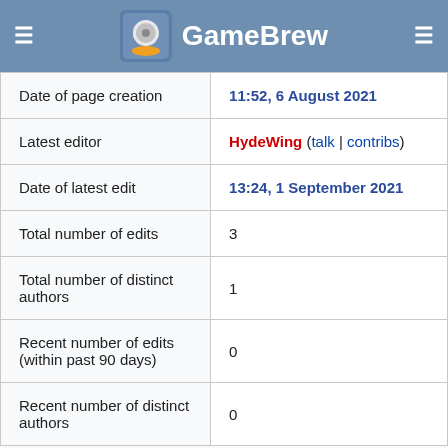GameBrew
| Date of page creation | 11:52, 6 August 2021 |
| Latest editor | HydeWing (talk | contribs) |
| Date of latest edit | 13:24, 1 September 2021 |
| Total number of edits | 3 |
| Total number of distinct authors | 1 |
| Recent number of edits (within past 90 days) | 0 |
| Recent number of distinct authors | 0 |
Advertising: